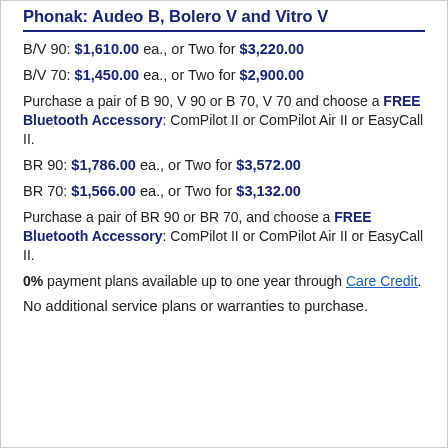Phonak: Audeo B, Bolero V and Vitro V
B/V 90: $1,610.00 ea., or Two for $3,220.00
B/V 70: $1,450.00 ea., or Two for $2,900.00
Purchase a pair of B 90, V 90 or B 70, V 70 and choose a FREE Bluetooth Accessory: ComPilot II or ComPilot Air II or EasyCall II.
BR 90: $1,786.00 ea., or Two for $3,572.00
BR 70: $1,566.00 ea., or Two for $3,132.00
Purchase a pair of BR 90 or BR 70, and choose a FREE Bluetooth Accessory: ComPilot II or ComPilot Air II or EasyCall II.
0% payment plans available up to one year through Care Credit.
No additional service plans or warranties to purchase.